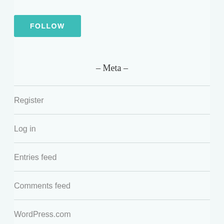[Figure (other): Teal FOLLOW button]
- Meta -
Register
Log in
Entries feed
Comments feed
WordPress.com